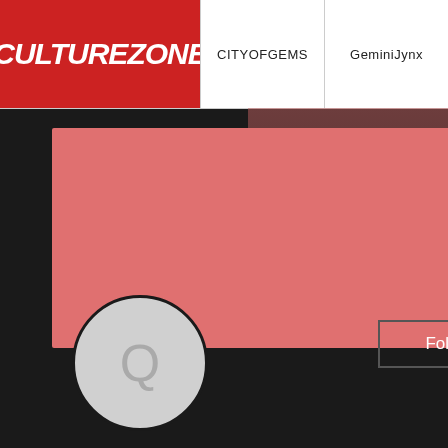CULTUREZONE | CITYOFGEMS | GeminiJynx
[Figure (screenshot): User profile page on CultureZone platform showing a profile with salmon/red banner, circular avatar with Q letter, Follow button, three-dot menu, username 'Qt signals and slots ...', 0 Followers, 0 Following, and bottom navigation with Profile (active, red) and Blog Comments items. Right panel shows Profile section header, Join date: May 17,, About section, Qt signals a title, and a blue link 'Qt signals and slots e']
Qt signals and slots ...
0 Followers • 0 Following
Profile
Blog Comments
Profile
Join date: May 17, 2
About
Qt signals a
Qt signals and slots e